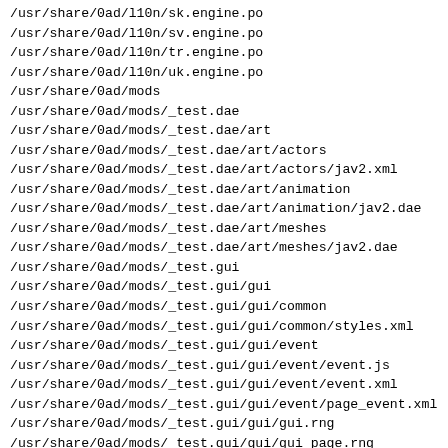/usr/share/0ad/l10n/sk.engine.po
/usr/share/0ad/l10n/sv.engine.po
/usr/share/0ad/l10n/tr.engine.po
/usr/share/0ad/l10n/uk.engine.po
/usr/share/0ad/mods
/usr/share/0ad/mods/_test.dae
/usr/share/0ad/mods/_test.dae/art
/usr/share/0ad/mods/_test.dae/art/actors
/usr/share/0ad/mods/_test.dae/art/actors/jav2.xml
/usr/share/0ad/mods/_test.dae/art/animation
/usr/share/0ad/mods/_test.dae/art/animation/jav2.dae
/usr/share/0ad/mods/_test.dae/art/meshes
/usr/share/0ad/mods/_test.dae/art/meshes/jav2.dae
/usr/share/0ad/mods/_test.gui
/usr/share/0ad/mods/_test.gui/gui
/usr/share/0ad/mods/_test.gui/gui/common
/usr/share/0ad/mods/_test.gui/gui/common/styles.xml
/usr/share/0ad/mods/_test.gui/gui/event
/usr/share/0ad/mods/_test.gui/gui/event/event.js
/usr/share/0ad/mods/_test.gui/gui/event/event.xml
/usr/share/0ad/mods/_test.gui/gui/event/page_event.xml
/usr/share/0ad/mods/_test.gui/gui/gui.rng
/usr/share/0ad/mods/_test.gui/gui/gui_page.rng
/usr/share/0ad/mods/_test.gui/gui/hotkey
/usr/share/0ad/mods/_test.gui/gui/hotkey/hotkey.js
/usr/share/0ad/mods/_test.gui/gui/hotkey/hotkey.xml
/usr/share/0ad/mods/_test.gui/gui/hotkey/page_hotkey.xml
/usr/share/0ad/mods/_test.minimal
/usr/share/0ad/mods/_test.minimal/art
/usr/share/0ad/mods/_test.minimal/art/actors